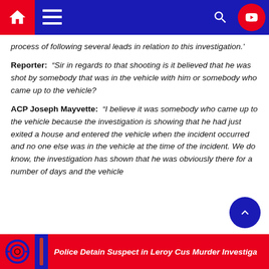Navigation bar with home, menu, search, and YouTube icons
process of following several leads in relation to this investigation.'
Reporter: “Sir in regards to that shooting is it believed that he was shot by somebody that was in the vehicle with him or somebody who came up to the vehicle?
ACP Joseph Mayvette: “I believe it was somebody who came up to the vehicle because the investigation is showing that he had just exited a house and entered the vehicle when the incident occurred and no one else was in the vehicle at the time of the incident. We do know, the investigation has shown that he was obviously there for a number of days and the vehicle
Police Detain Suspect in Leroy Cus Murder Investiga